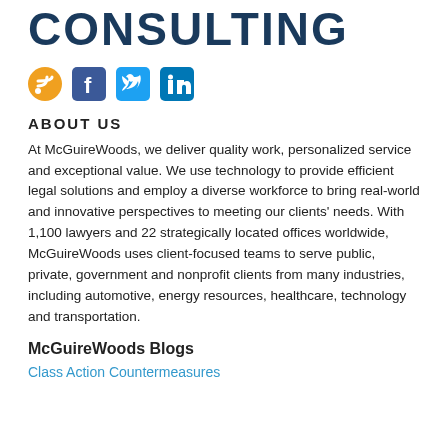CONSULTING
[Figure (infographic): Social media icons: RSS feed (orange), Facebook (blue), Twitter (blue), LinkedIn (blue)]
ABOUT US
At McGuireWoods, we deliver quality work, personalized service and exceptional value. We use technology to provide efficient legal solutions and employ a diverse workforce to bring real-world and innovative perspectives to meeting our clients' needs. With 1,100 lawyers and 22 strategically located offices worldwide, McGuireWoods uses client-focused teams to serve public, private, government and nonprofit clients from many industries, including automotive, energy resources, healthcare, technology and transportation.
McGuireWoods Blogs
Class Action Countermeasures